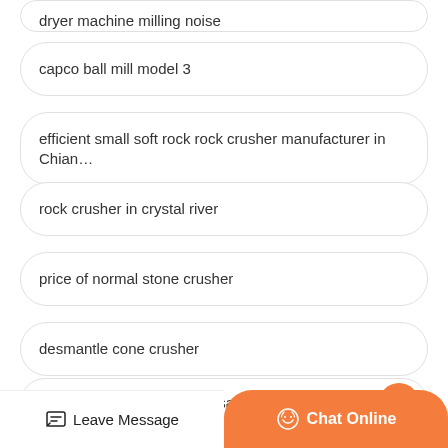capco ball mill model 3
efficient small soft rock rock crusher manufacturer in Chian…
rock crusher in crystal river
price of normal stone crusher
desmantle cone crusher
rubble master crushers for sale
price mini diesel rock crusher p…
Leave Message   Chat Online